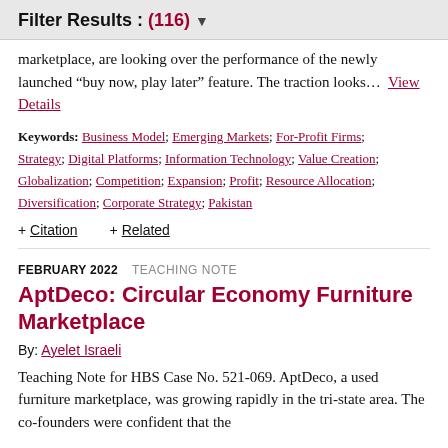Filter Results : (116)
marketplace, are looking over the performance of the newly launched “buy now, play later” feature. The traction looks...  View Details
Keywords: Business Model; Emerging Markets; For-Profit Firms; Strategy; Digital Platforms; Information Technology; Value Creation; Globalization; Competition; Expansion; Profit; Resource Allocation; Diversification; Corporate Strategy; Pakistan
+ Citation   + Related
FEBRUARY 2022  TEACHING NOTE
AptDeco: Circular Economy Furniture Marketplace
By: Ayelet Israeli
Teaching Note for HBS Case No. 521-069. AptDeco, a used furniture marketplace, was growing rapidly in the tri-state area. The co-founders were confident that the